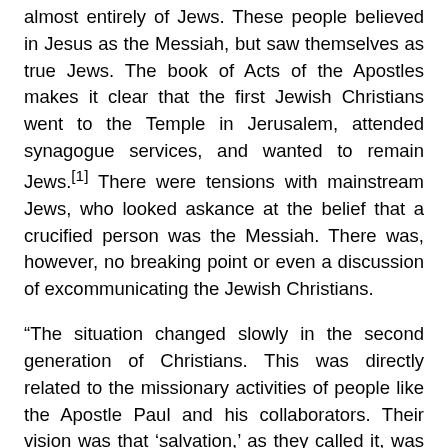almost entirely of Jews. These people believed in Jesus as the Messiah, but saw themselves as true Jews. The book of Acts of the Apostles makes it clear that the first Jewish Christians went to the Temple in Jerusalem, attended synagogue services, and wanted to remain Jews.[1] There were tensions with mainstream Jews, who looked askance at the belief that a crucified person was the Messiah. There was, however, no breaking point or even a discussion of excommunicating the Jewish Christians.
“The situation changed slowly in the second generation of Christians. This was directly related to the missionary activities of people like the Apostle Paul and his collaborators. Their vision was that ‘salvation,’ as they called it, was intended by God not only for the Jewish